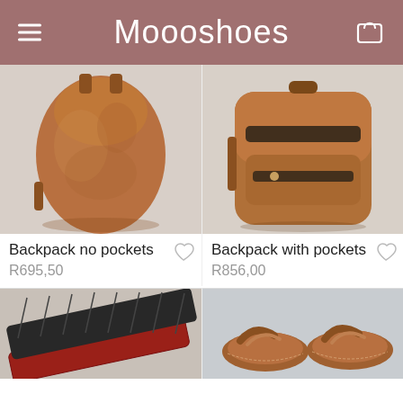Moooshoes
[Figure (photo): Brown leather backpack with no pockets, front view]
[Figure (photo): Brown leather backpack with pockets, front view]
Backpack no pockets
R695,50
Backpack with pockets
R856,00
[Figure (photo): Black and red woven leather belts]
[Figure (photo): Brown leather sandals/slippers pair]